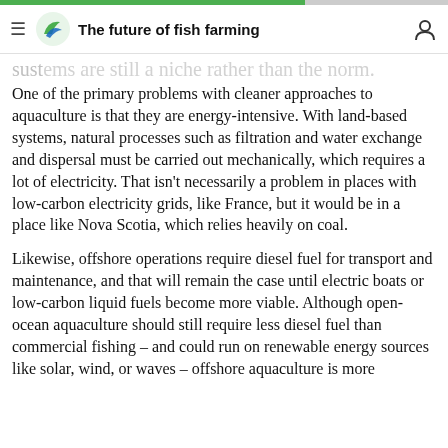The future of fish farming
sustems are still a niche rather than the norm.
One of the primary problems with cleaner approaches to aquaculture is that they are energy-intensive. With land-based systems, natural processes such as filtration and water exchange and dispersal must be carried out mechanically, which requires a lot of electricity. That isn't necessarily a problem in places with low-carbon electricity grids, like France, but it would be in a place like Nova Scotia, which relies heavily on coal.
Likewise, offshore operations require diesel fuel for transport and maintenance, and that will remain the case until electric boats or low-carbon liquid fuels become more viable. Although open-ocean aquaculture should still require less diesel fuel than commercial fishing – and could run on renewable energy sources like solar, wind, or waves – offshore aquaculture is more